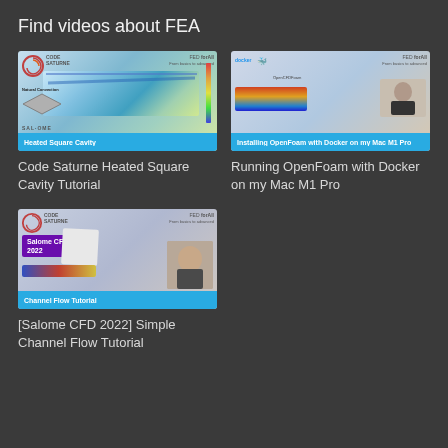Find videos about FEA
[Figure (screenshot): Thumbnail for Code Saturne Heated Square Cavity Tutorial video showing CFD simulation with flow visualization]
Code Saturne Heated Square Cavity Tutorial
[Figure (screenshot): Thumbnail for Running OpenFoam with Docker on my Mac M1 Pro showing Docker and OpenFOAM logos plus person]
Running OpenFoam with Docker on my Mac M1 Pro
[Figure (screenshot): Thumbnail for Salome CFD 2022 Simple Channel Flow Tutorial showing channel flow simulation and presenter]
[Salome CFD 2022] Simple Channel Flow Tutorial